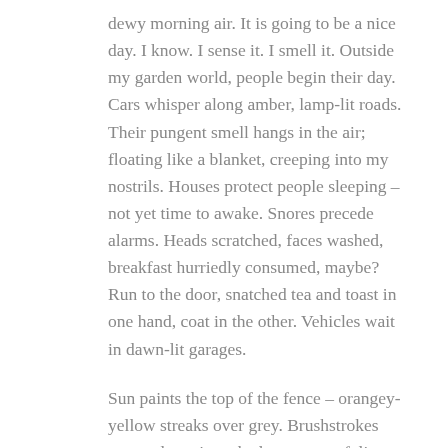dewy morning air. It is going to be a nice day. I know. I sense it. I smell it. Outside my garden world, people begin their day. Cars whisper along amber, lamp-lit roads. Their pungent smell hangs in the air; floating like a blanket, creeping into my nostrils. Houses protect people sleeping – not yet time to awake. Snores precede alarms. Heads scratched, faces washed, breakfast hurriedly consumed, maybe? Run to the door, snatched tea and toast in one hand, coat in the other. Vehicles wait in dawn-lit garages.
Sun paints the top of the fence – orangey-yellow streaks over grey. Brushstrokes sweep down into shadowy, green foliage. Leaves awaken, splashed with colour. Petals unfurl, pointing to the sun. Seconds tick. Light invades. Shadows move.  A web glistens like a necklace adorned with jewels, bouncing against the wind, glittering in the shadow. A spider moves, heading for its morning feast.